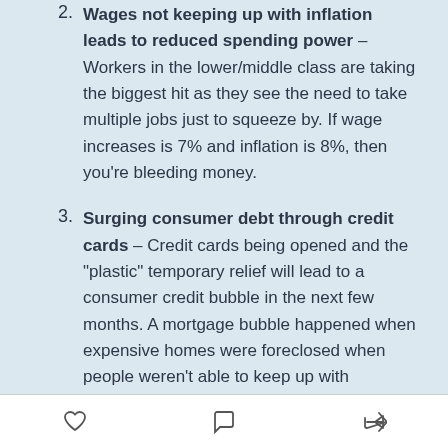Wages not keeping up with inflation leads to reduced spending power – Workers in the lower/middle class are taking the biggest hit as they see the need to take multiple jobs just to squeeze by. If wage increases is 7% and inflation is 8%, then you're bleeding money.
Surging consumer debt through credit cards – Credit cards being opened and the "plastic" temporary relief will lead to a consumer credit bubble in the next few months. A mortgage bubble happened when expensive homes were foreclosed when people weren't able to keep up with mortgage payments. We have that problem plus all the credit card spending and compounding.
Like, Comment, Share icons